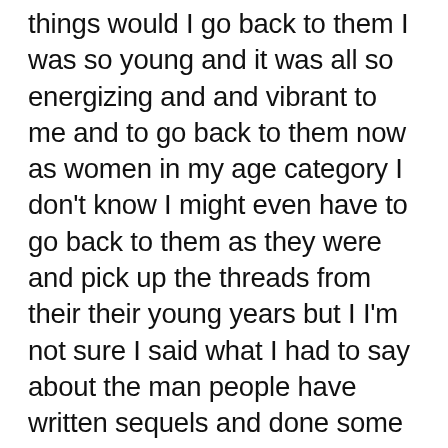things would I go back to them I was so young and it was all so energizing and and vibrant to me and to go back to them now as women in my age category I don't know I might even have to go back to them as they were and pick up the threads from their their young years but I I'm not sure I said what I had to say about the man people have written sequels and done some interesting creative work with them I don't know I think maybe I just don't know her I would start I did make an effort I did write that book but it was all except for Bebo it was different characters so I'm not sure I would like what I did I I didn't like that one I wouldn't certainly be that book I guess I have to say I thought about it but when I felt energized to do it I was working full-time then I retired and I'd been traveling for about 15 years lecturing around the country and and talking to people all over which has been a great